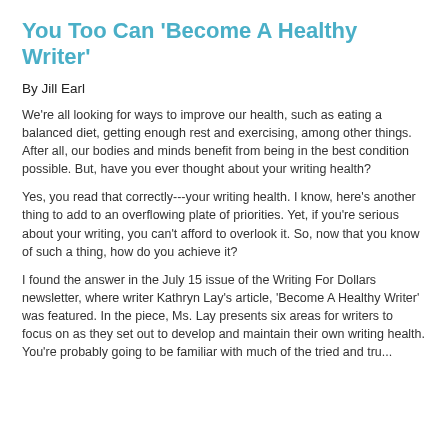You Too Can 'Become A Healthy Writer'
By Jill Earl
We're all looking for ways to improve our health, such as eating a balanced diet, getting enough rest and exercising, among other things. After all, our bodies and minds benefit from being in the best condition possible. But, have you ever thought about your writing health?
Yes, you read that correctly---your writing health. I know, here's another thing to add to an overflowing plate of priorities. Yet, if you're serious about your writing, you can't afford to overlook it. So, now that you know of such a thing, how do you achieve it?
I found the answer in the July 15 issue of the Writing For Dollars newsletter, where writer Kathryn Lay's article, 'Become A Healthy Writer' was featured. In the piece, Ms. Lay presents six areas for writers to focus on as they set out to develop and maintain their own writing health. You're probably going to be familiar with much of the tried and true...